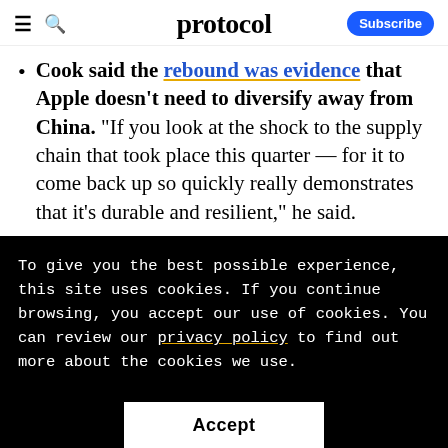protocol
Cook said the rebound was evidence that Apple doesn't need to diversify away from China. "If you look at the shock to the supply chain that took place this quarter — for it to come back up so quickly really demonstrates that it's durable and resilient," he said.
To give you the best possible experience, this site uses cookies. If you continue browsing, you accept our use of cookies. You can review our privacy policy to find out more about the cookies we use.
Accept